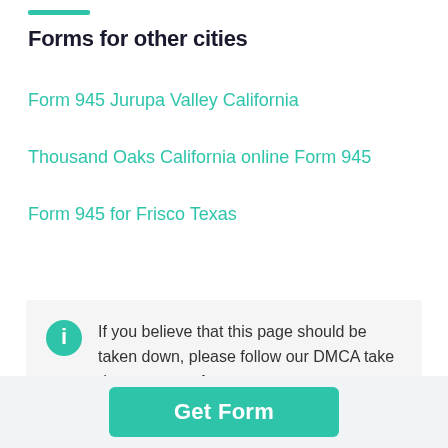Forms for other cities
Form 945 Jurupa Valley California
Thousand Oaks California online Form 945
Form 945 for Frisco Texas
If you believe that this page should be taken down, please follow our DMCA take down process here.
Get Form